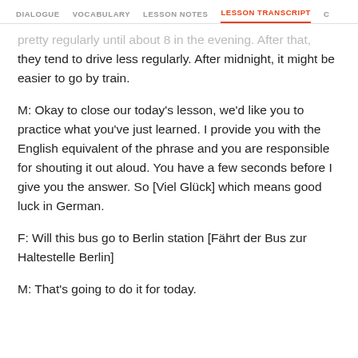DIALOGUE  VOCABULARY  LESSON NOTES  LESSON TRANSCRIPT  C
pretty regularly until about 8 in the evening. After that, they tend to drive less regularly. After midnight, it might be easier to go by train.
M: Okay to close our today's lesson, we'd like you to practice what you've just learned. I provide you with the English equivalent of the phrase and you are responsible for shouting it out aloud. You have a few seconds before I give you the answer. So [Viel Glück] which means good luck in German.
F: Will this bus go to Berlin station [Fährt der Bus zur Haltestelle Berlin]
M: That's going to do it for today.